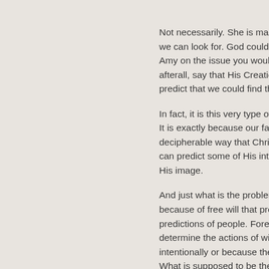Not necessarily. She is making a we can look for. God could have Amy on the issue you would find afterall, say that His Creation was predict that we could find that go
In fact, it is this very type of predi It is exactly because our fathers p decipherable way that Christendo can predict some of His intention His image.
And just what is the problem with because of free will that predictio predictions of people. Forensic s determine the actions of willful ag intentionally or because their me What is supposed to be the probl
And as for predictions, you make might have done based upon wh. In the same way, you predict that in Hell based upon what you thi